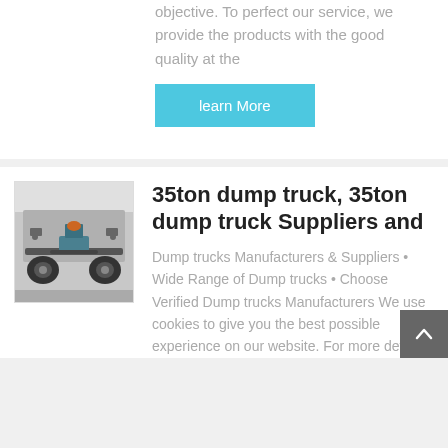objective. To perfect our service, we provide the products with the good quality at the
learn More
[Figure (photo): Undercarriage view of a dump truck showing axle and suspension components]
35ton dump truck, 35ton dump truck Suppliers and
Dump trucks Manufacturers & Suppliers • Wide Range of Dump trucks • Choose Verified Dump trucks Manufacturers We use cookies to give you the best possible experience on our website. For more details